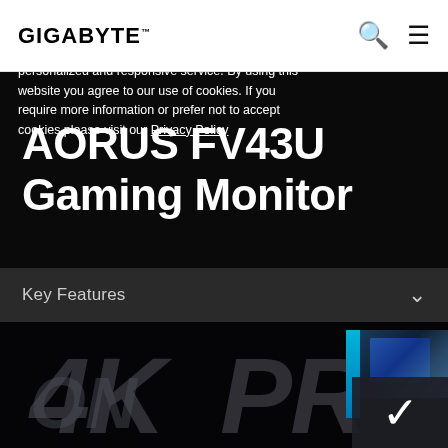GIGABYTE
AORUS FV43U Gaming Monitor
Key Features
[Figure (screenshot): Dark background with large stylized text '4K PRO' partially visible, a game thumbnail in top-right corner, a blue accent bar, an accept/checkmark panel overlay, and a cookie consent notice.]
This website uses cookies to provide you a more personalized and responsive service. By using this website you agree to our use of cookies. If you require more information or prefer not to accept cookies please visit our Privacy Policy